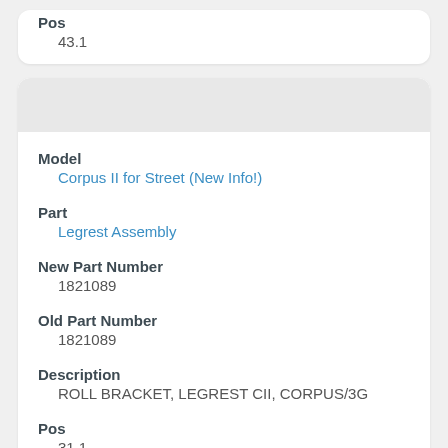Pos
43.1
Model
Corpus II for Street (New Info!)
Part
Legrest Assembly
New Part Number
1821089
Old Part Number
1821089
Description
ROLL BRACKET, LEGREST CII, CORPUS/3G
Pos
31.1